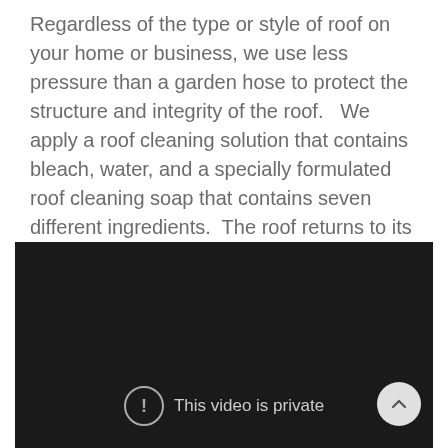Regardless of the type or style of roof on your home or business, we use less pressure than a garden hose to protect the structure and integrity of the roof.  We apply a roof cleaning solution that contains bleach, water, and a specially formulated roof cleaning soap that contains seven different ingredients.  The roof returns to its original color because algae is killed upon contact.  It's important to remember that using high pressure water volume to clean a roof usually voids the manufacturer's warranty.
[Figure (screenshot): Dark video player showing 'This video is private' message with an exclamation icon and a scroll-up button in the bottom right corner.]